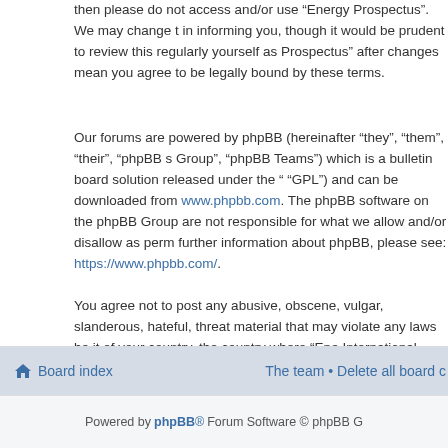then please do not access and/or use “Energy Prospectus”. We may change t… in informing you, though it would be prudent to review this regularly yourself a… Prospectus” after changes mean you agree to be legally bound by these terms…
Our forums are powered by phpBB (hereinafter “they”, “them”, “their”, “phpBB s… Group”, “phpBB Teams”) which is a bulletin board solution released under the “… “GPL”) and can be downloaded from www.phpbb.com. The phpBB software o… the phpBB Group are not responsible for what we allow and/or disallow as per… further information about phpBB, please see: https://www.phpbb.com/.
You agree not to post any abusive, obscene, vulgar, slanderous, hateful, threa… material that may violate any laws be it of your country, the country where “Ene… International Law. Doing so may lead to you being immediately and permanen… Internet Service Provider if deemed required by us. The IP address of all post… conditions. You agree that “Energy Prospectus” have the right to remove, edit,… should we see fit. As a user you agree to any information you have entered to b… information will not be disclosed to any third party without your consent, neithe… be held responsible for any hacking attempt that may lead to the data being co…
Back to login screen
Board index • The team • Delete all board c…
Powered by phpBB® Forum Software © phpBB G…